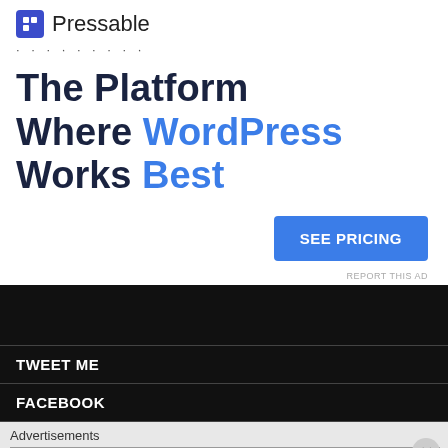[Figure (logo): Pressable logo with blue icon and brand name]
The Platform Where WordPress Works Best
[Figure (other): SEE PRICING button (blue CTA)]
REPORT THIS AD
TWEET ME
FACEBOOK
Advertisements
[Figure (other): DuckDuckGo advertisement banner: Search, browse, and email with more privacy. All in One Free App. DuckDuckGo logo.]